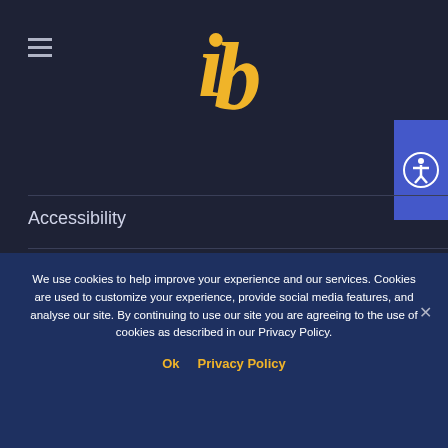[Figure (logo): IB (International Baccalaureate) logo in yellow with stylized 'i' and 'b' letters]
Accessibility
Get Involved
Contact Us
LATEST NEWS
We use cookies to help improve your experience and our services. Cookies are used to customize your experience, provide social media features, and analyse our site. By continuing to use our site you are agreeing to the use of cookies as described in our Privacy Policy.
Ok  Privacy Policy